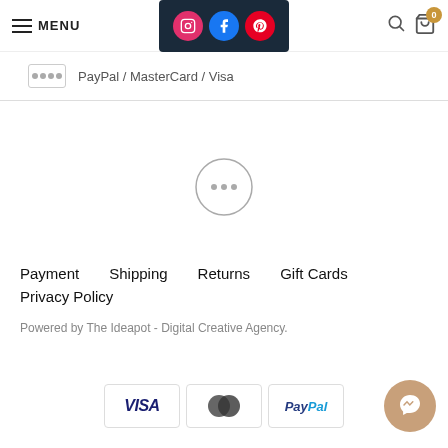MENU | Social icons (Instagram, Facebook, Pinterest) | Search | Cart (0)
PayPal / MasterCard / Visa
[Figure (other): Loading spinner circle with three dots inside]
Payment   Shipping   Returns   Gift Cards
Privacy Policy
Powered by The Ideapot - Digital Creative Agency.
[Figure (other): Payment logos: VISA, Mastercard, PayPal]
[Figure (other): Messenger chat button (tan/beige circle with messenger icon)]